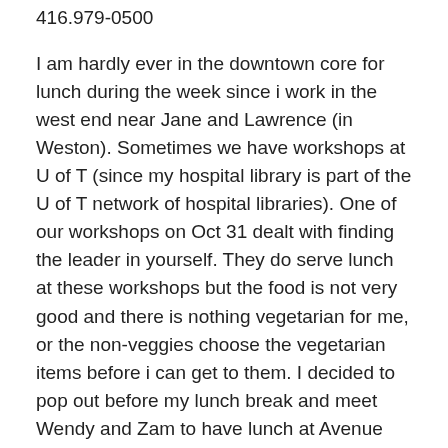416.979-0500
I am hardly ever in the downtown core for lunch during the week since i work in the west end near Jane and Lawrence (in Weston). Sometimes we have workshops at U of T (since my hospital library is part of the U of T network of hospital libraries). One of our workshops on Oct 31 dealt with finding the leader in yourself. They do serve lunch at these workshops but the food is not very good and there is nothing vegetarian for me, or the non-veggies choose the vegetarian items before i can get to them. I decided to pop out before my lunch break and meet Wendy and Zam to have lunch at Avenue Cafe and Bistro, a high end sandwich bistro at Dundas and University.
This bistro belongs in a Sex and the City episode. I could